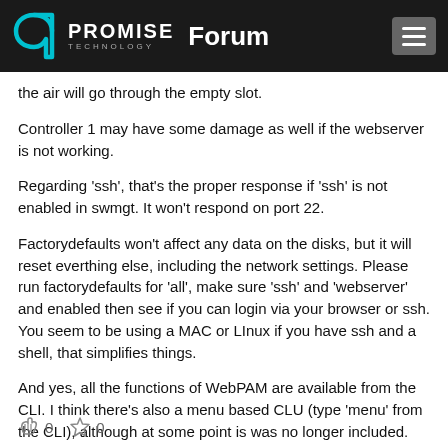PROMISE TECHNOLOGY Forum
the air will go through the empty slot.
Controller 1 may have some damage as well if the webserver is not working.
Regarding 'ssh', that's the proper response if 'ssh' is not enabled in swmgt. It won't respond on port 22.
Factorydefaults won't affect any data on the disks, but it will reset everthing else, including the network settings. Please run factorydefaults for 'all', make sure 'ssh' and 'webserver' and enabled then see if you can login via your browser or ssh. You seem to be using a MAC or LInux if you have ssh and a shell, that simplifies things.
And yes, all the functions of WebPAM are available from the CLI. I think there's also a menu based CLU (type 'menu' from the CLI), although at some point is was no longer included.